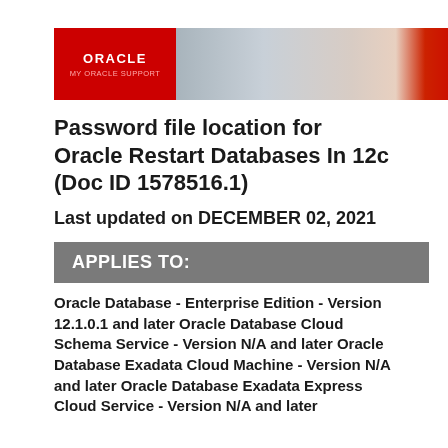[Figure (logo): Oracle My Oracle Support banner with red left panel showing Oracle logo and My Oracle Support text, center photo of woman with tablet in server room, and red right panel]
Password file location for Oracle Restart Databases In 12c (Doc ID 1578516.1)
Last updated on DECEMBER 02, 2021
APPLIES TO:
Oracle Database - Enterprise Edition - Version 12.1.0.1 and later Oracle Database Cloud Schema Service - Version N/A and later Oracle Database Exadata Cloud Machine - Version N/A and later Oracle Database Exadata Express Cloud Service - Version N/A and later